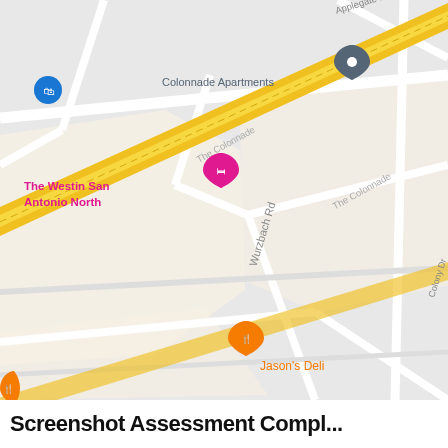[Figure (map): Google Maps screenshot showing area around The Colonnade in San Antonio, Texas. Features visible include: Colonnade Apartments, The Westin San Antonio North (hotel pin), Jason's Deli, 54th Street Restaurant & Drafthouse, Hussianiah Of San Antonio Texas, Take 5 Oil Change, H-E-B (grocery store), McDonald's, rgies Mexican restaurant, International Food Market. Roads visible include Wurzbach Rd, Colony Dr, Powhatan Dr, Chartwell Dr, Applegate Dr. A diagonal highway (I-87) runs through the map. Map pins shown in orange (restaurants/food), blue (shopping/services), pink (hotels), and gray (place markers).]
Screenshot Assessment Compl...